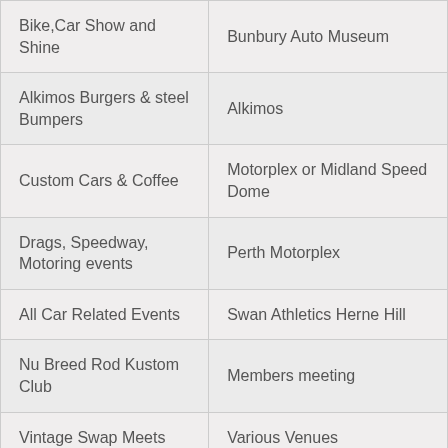| Bike,Car Show and Shine | Bunbury Auto Museum |
| Alkimos Burgers & steel Bumpers | Alkimos |
| Custom Cars & Coffee | Motorplex or Midland Speed Dome |
| Drags, Speedway, Motoring events | Perth Motorplex |
| All Car Related Events | Swan Athletics Herne Hill |
| Nu Breed Rod Kustom Club | Members meeting |
| Vintage Swap Meets | Various Venues |
| All ASRFWA Club Meetings | Various Venues |